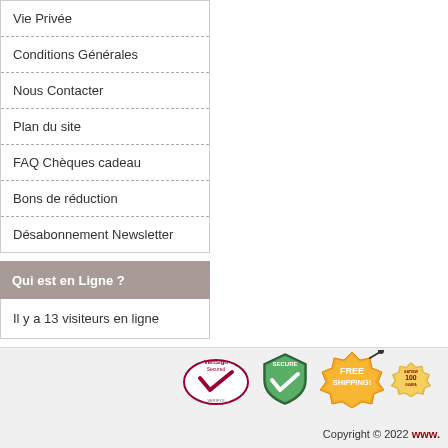Vie Privée
Conditions Générales
Nous Contacter
Plan du site
FAQ Chèques cadeau
Bons de réduction
Désabonnement Newsletter
Qui est en Ligne ?
Il y a 13 visiteurs en ligne
[Figure (infographic): Security badges: VeriSign Secured, Secure checkmark shield, Free Shipping burst, Satisfaction 100% Guarantee seal]
Copyright © 2022 www.